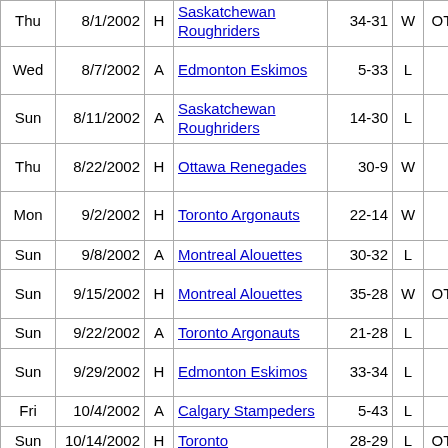| Day | Date | H/A | Opponent | Score | W/L | OT | Location |
| --- | --- | --- | --- | --- | --- | --- | --- |
| Thu | 8/1/2002 | H | Saskatchewan Roughriders | 34-31 | W | OT | ON |
| Wed | 8/7/2002 | A | Edmonton Eskimos | 5-33 | L |  | Edmonton, AB |
| Sun | 8/11/2002 | A | Saskatchewan Roughriders | 14-30 | L |  | Regina, SK |
| Thu | 8/22/2002 | H | Ottawa Renegades | 30-9 | W |  | Hamilton, ON |
| Mon | 9/2/2002 | H | Toronto Argonauts | 22-14 | W |  | Hamilton, ON |
| Sun | 9/8/2002 | A | Montreal Alouettes | 30-32 | L |  | Montreal, QC |
| Sun | 9/15/2002 | H | Montreal Alouettes | 35-28 | W | OT | Hamilton, ON |
| Sun | 9/22/2002 | A | Toronto Argonauts | 21-28 | L |  | Toronto, ON |
| Sun | 9/29/2002 | H | Edmonton Eskimos | 33-34 | L |  | Hamilton, ON |
| Fri | 10/4/2002 | A | Calgary Stampeders | 5-43 | L |  | Calgary, AB |
| Sun | 10/14/2002 | H | Toronto | 28-29 | L | OT | Hamilton, |